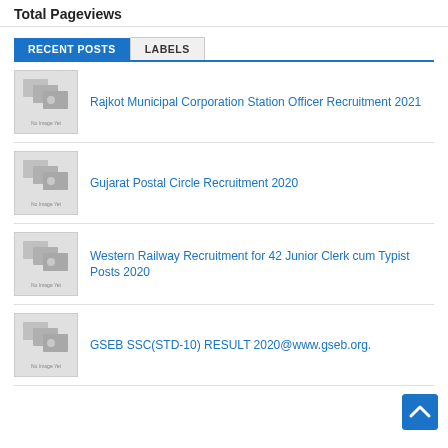Total Pageviews
RECENT POSTS | LABELS
Rajkot Municipal Corporation Station Officer Recruitment 2021
Gujarat Postal Circle Recruitment 2020
Western Railway Recruitment for 42 Junior Clerk cum Typist Posts 2020
GSEB SSC(STD-10) RESULT 2020@www.gseb.org.